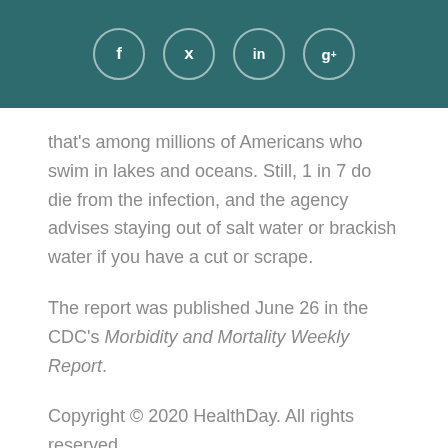[Figure (other): Social media share buttons: Facebook, Twitter, LinkedIn, Google+ displayed as circular icons on a teal background header bar]
that's among millions of Americans who swim in lakes and oceans. Still, 1 in 7 do die from the infection, and the agency advises staying out of salt water or brackish water if you have a cut or scrape.
The report was published June 26 in the CDC's Morbidity and Mortality Weekly Report.
Copyright © 2020 HealthDay. All rights reserved.